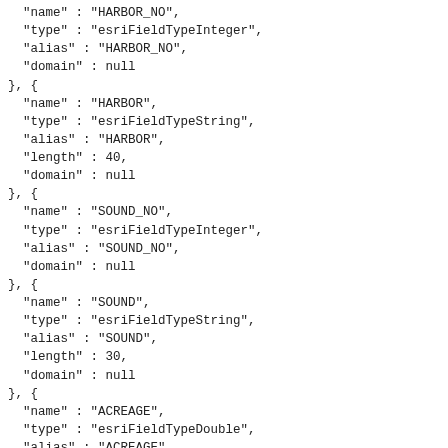"name" : "HARBOR_NO",
"type" : "esriFieldTypeInteger",
"alias" : "HARBOR_NO",
"domain" : null
}, {
"name" : "HARBOR",
"type" : "esriFieldTypeString",
"alias" : "HARBOR",
"length" : 40,
"domain" : null
}, {
"name" : "SOUND_NO",
"type" : "esriFieldTypeInteger",
"alias" : "SOUND_NO",
"domain" : null
}, {
"name" : "SOUND",
"type" : "esriFieldTypeString",
"alias" : "SOUND",
"length" : 30,
"domain" : null
}, {
"name" : "ACREAGE",
"type" : "esriFieldTypeDouble",
"alias" : "ACREAGE",
"domain" : null
}, {
"name" : "SHAPE_Length",
"type" : "esriFieldTypeDouble",
"alias" : "SHAPE_Length",
"domain" : null
}, {
"name" : "SHAPE_Area",
"type" : "esriFieldTypeDouble",
"alias" : "SHAPE_Area",
"domain" : null
} ],
"geometryField" : {